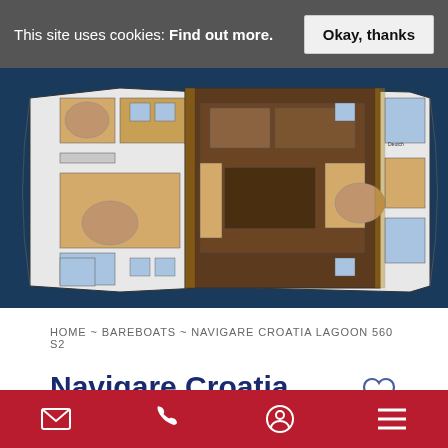This site uses cookies: Find out more.
Okay, thanks
[Figure (schematic): Top-down floor plan / layout schematic of a Lagoon 560 S2 catamaran yacht, showing cabins, saloon, galley, bathrooms, deck areas in a detailed architectural drawing with tan/brown colors.]
HOME ~ BAREBOATS ~ NAVIGARE CROATIA LAGOON 560 S2
Navigare Croatia